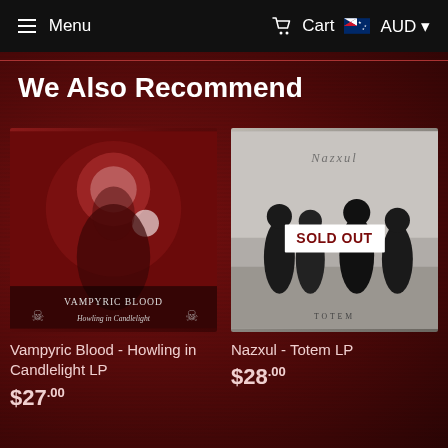Menu  Cart  AUD
We Also Recommend
[Figure (photo): Album cover for Vampyric Blood - Howling in Candlelight LP, dark red toned image of a figure with candlelight, band name text at bottom]
Vampyric Blood - Howling in Candlelight LP
$27.00
[Figure (photo): Album cover for Nazxul - Totem LP, black and white photo of four hooded silhouetted figures, SOLD OUT badge overlaid]
Nazxul - Totem LP
$28.00